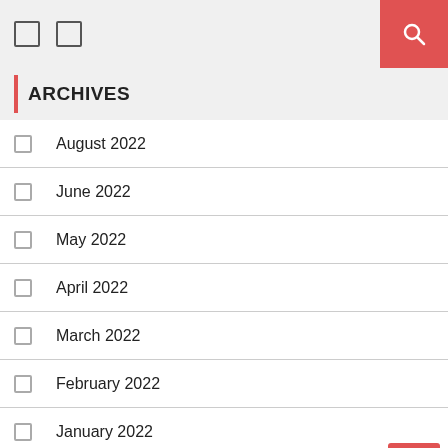Navigation bar with icons and search button
ARCHIVES
August 2022
June 2022
May 2022
April 2022
March 2022
February 2022
January 2022
December 2021